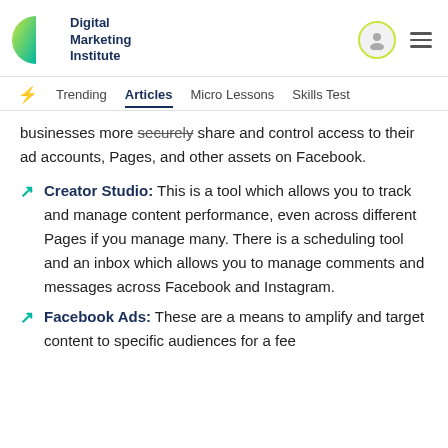Digital Marketing Institute
businesses more securely share and control access to their ad accounts, Pages, and other assets on Facebook.
Creator Studio: This is a tool which allows you to track and manage content performance, even across different Pages if you manage many. There is a scheduling tool and an inbox which allows you to manage comments and messages across Facebook and Instagram.
Facebook Ads: These are a means to amplify and target content to specific audiences for a fee